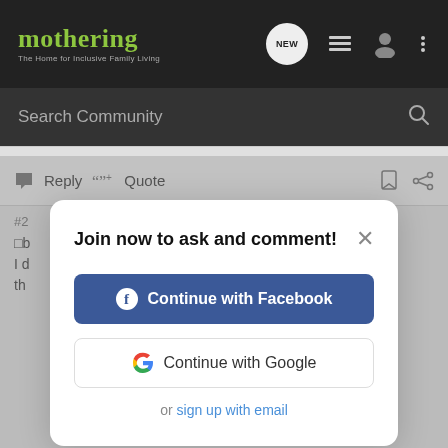[Figure (screenshot): Mothering website top navigation bar with logo, NEW bubble icon, list icon, user icon, and three-dot menu icon on dark background]
[Figure (screenshot): Search Community search bar on dark grey background with magnifying glass icon]
Reply   Quote
[Figure (screenshot): Modal dialog: 'Join now to ask and comment!' with Continue with Facebook button, Continue with Google button, and 'or sign up with email' link]